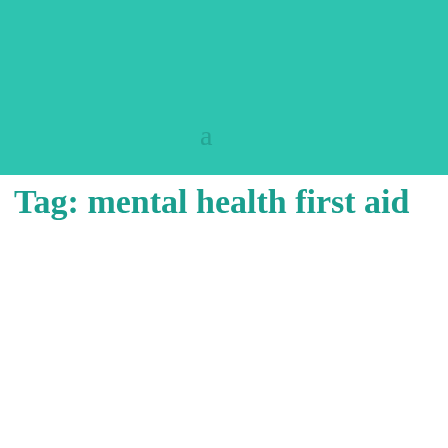[Figure (other): Teal/turquoise colored banner background with a faint lowercase letter 'a' visible in the lower center area of the banner]
Tag: mental health first aid